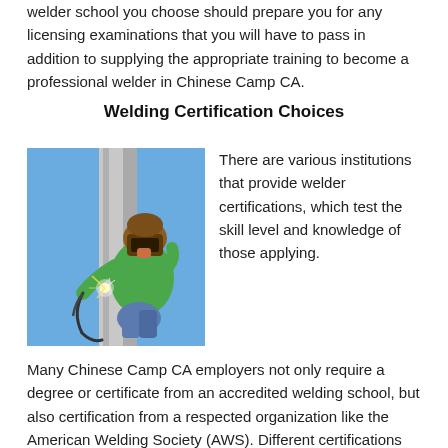welder school you choose should prepare you for any licensing examinations that you will have to pass in addition to supplying the appropriate training to become a professional welder in Chinese Camp CA.
Welding Certification Choices
[Figure (photo): A welder in a green jacket and welding helmet working on a metal structure outdoors against a blue sky, with sparks visible.]
There are various institutions that provide welder certifications, which test the skill level and knowledge of those applying.
Many Chinese Camp CA employers not only require a degree or certificate from an accredited welding school, but also certification from a respected organization like the American Welding Society (AWS). Different certifications are available